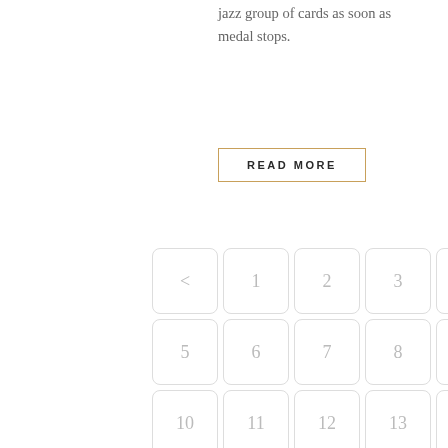jazz group of cards as soon as medal stops.
READ MORE
[Figure (other): Pagination grid showing navigation cells: < (back), 1-29 numbered page links arranged in a 5-column grid, and a circular back-to-top arrow button]